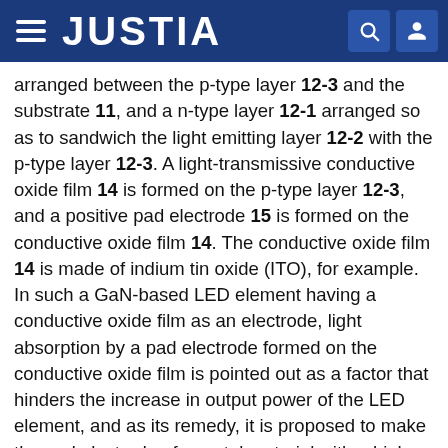JUSTIA
arranged between the p-type layer 12-3 and the substrate 11, and a n-type layer 12-1 arranged so as to sandwich the light emitting layer 12-2 with the p-type layer 12-3. A light-transmissive conductive oxide film 14 is formed on the p-type layer 12-3, and a positive pad electrode 15 is formed on the conductive oxide film 14. The conductive oxide film 14 is made of indium tin oxide (ITO), for example. In such a GaN-based LED element having a conductive oxide film as an electrode, light absorption by a pad electrode formed on the conductive oxide film is pointed out as a factor that hinders the increase in output power of the LED element, and as its remedy, it is proposed to make the pad electrode of a metal material with a high reflectance (patent document 1). In addition, a pad electrode is an electrode to which a material used for making connection with an external electrode, such as a bonding wire, conductive paste, and